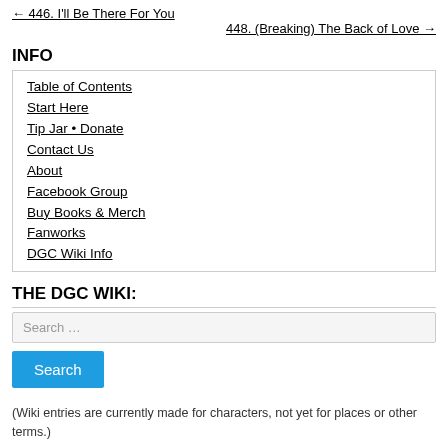← 446. I'll Be There For You
448. (Breaking) The Back of Love →
INFO
Table of Contents
Start Here
Tip Jar • Donate
Contact Us
About
Facebook Group
Buy Books & Merch
Fanworks
DGC Wiki Info
THE DGC WIKI:
Search …
Search
(Wiki entries are currently made for characters, not yet for places or other terms.)